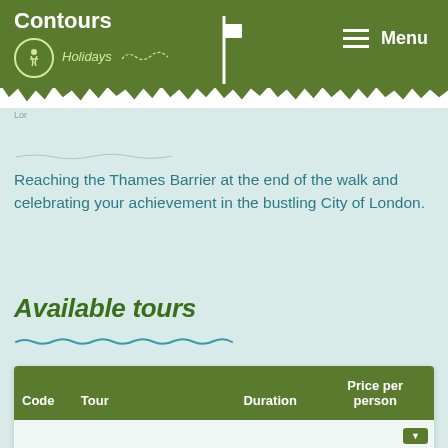Contours Holidays — Menu
Reaching the Thames Barrier at the end of the walk and celebrating your achievement in the bustling City of London.
Available tours
| Code | Tour | Duration | Price per person |
| --- | --- | --- | --- |
|  |  |  |  |